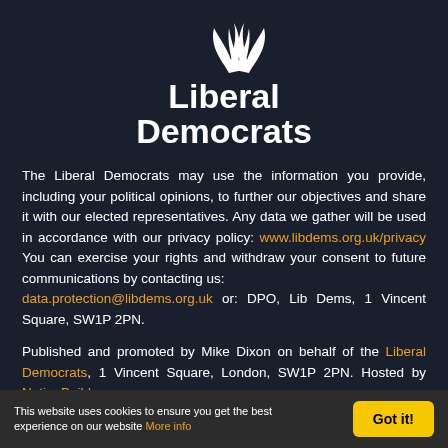[Figure (logo): Liberal Democrats logo with stylized bird/flame symbol in white on dark background, with text 'Liberal Democrats']
The Liberal Democrats may use the information you provide, including your political opinions, to further our objectives and share it with our elected representatives. Any data we gather will be used in accordance with our privacy policy: www.libdems.org.uk/privacy You can exercise your rights and withdraw your consent to future communications by contacting us: data.protection@libdems.org.uk or: DPO, Lib Dems, 1 Vincent Square, SW1P 2PN.
Published and promoted by Mike Dixon on behalf of the Liberal Democrats, 1 Vincent Square, London, SW1P 2PN. Hosted by NationBuilder.
This website uses cookies to ensure you get the best experience on our website More info
Got it!